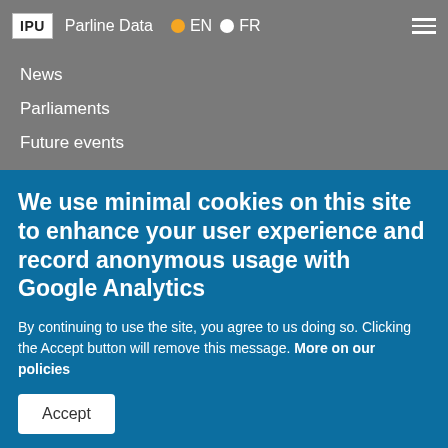IPU | Parline Data | EN | FR
News
Parliaments
Future events
Percentage of women in parliament
Parline data
Connect
Facebook
We use minimal cookies on this site to enhance your user experience and record anonymous usage with Google Analytics
By continuing to use the site, you agree to us doing so. Clicking the Accept button will remove this message. More on our policies
Accept